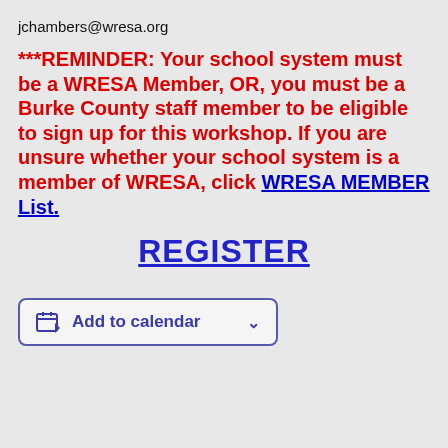jchambers@wresa.org
***REMINDER:  Your school system must be a WRESA Member, OR, you must be a Burke County staff member to be eligible to sign up for this workshop.  If you are unsure whether your school system is a member of WRESA, click WRESA MEMBER List.
REGISTER
[Figure (other): Add to calendar button with calendar icon and dropdown arrow]